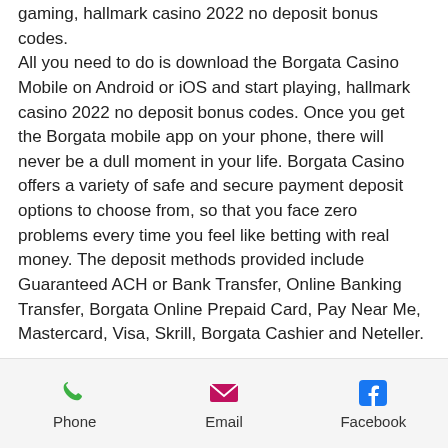The main goal in our reviews is safe casino gaming, hallmark casino 2022 no deposit bonus codes. All you need to do is download the Borgata Casino Mobile on Android or iOS and start playing, hallmark casino 2022 no deposit bonus codes. Once you get the Borgata mobile app on your phone, there will never be a dull moment in your life. Borgata Casino offers a variety of safe and secure payment deposit options to choose from, so that you face zero problems every time you feel like betting with real money. The deposit methods provided include Guaranteed ACH or Bank Transfer, Online Banking Transfer, Borgata Online Prepaid Card, Pay Near Me, Mastercard, Visa, Skrill, Borgata Cashier and Neteller.
Bitcoin slots village no
Phone  Email  Facebook